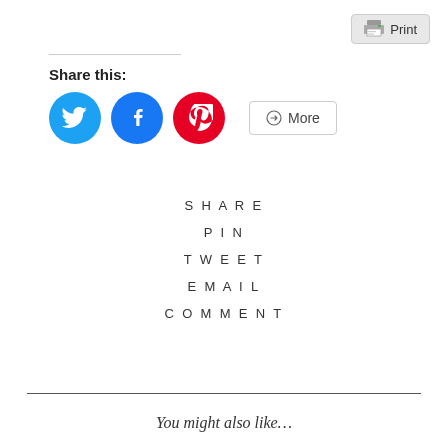[Figure (screenshot): Print button with printer icon in gray rounded rectangle]
Share this:
[Figure (infographic): Social sharing icons row: Twitter (blue circle), Facebook (blue circle), Pinterest (red circle), and a More button with share icon]
SHARE
PIN
TWEET
EMAIL
COMMENT
You might also like...